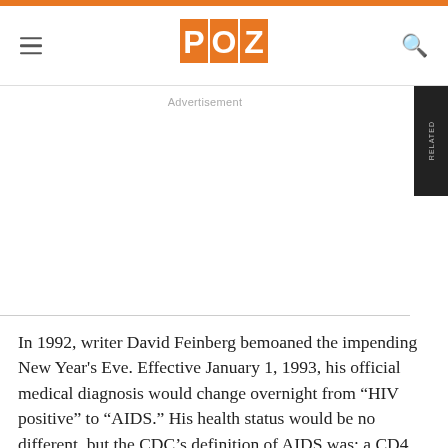POZ
Advertisement
In 1992, writer David Feinberg bemoaned the impending New Year's Eve. Effective January 1, 1993, his official medical diagnosis would change overnight from “HIV positive” to “AIDS.” His health status would be no different, but the CDC’s definition of AIDS was: a CD4 count of less than 200 had been added as a qualification. In one fell